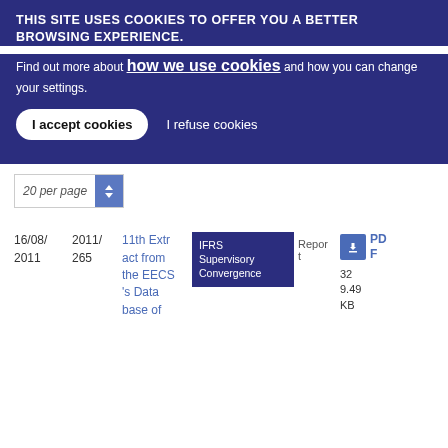THIS SITE USES COOKIES TO OFFER YOU A BETTER BROWSING EXPERIENCE.
Find out more about how we use cookies and how you can change your settings.
I accept cookies   I refuse cookies
20 per page
| Date | Ref | Title | Category | Type | Size |
| --- | --- | --- | --- | --- | --- |
| 16/08/2011 | 2011/265 | 11th Extract from the EECS's Database of | IFRS Supervisory Convergence | Report | PDF 329.49 KB |